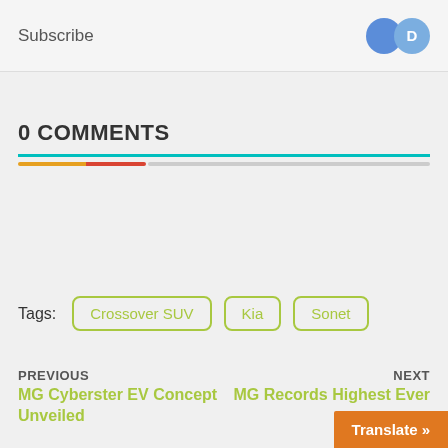Subscribe
0 COMMENTS
Tags: Crossover SUV   Kia   Sonet
PREVIOUS
MG Cyberster EV Concept Unveiled
NEXT
MG Records Highest Ever
Translate »